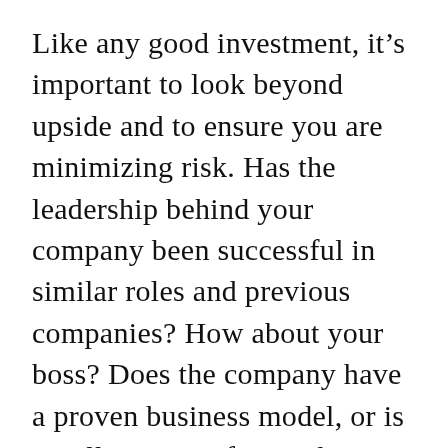Like any good investment, it's important to look beyond upside and to ensure you are minimizing risk. Has the leadership behind your company been successful in similar roles and previous companies? How about your boss? Does the company have a proven business model, or is it still grasping for product-market fit? How much is the industry the company is in growing or shrinking?
These were the questions that I did not ask when I joined my first start-up. While I learned a lot, I also dealt with a lot of